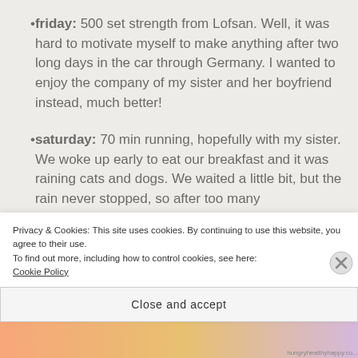friday: 500 set strength from Lofsan. Well, it was hard to motivate myself to make anything after two long days in the car through Germany. I wanted to enjoy the company of my sister and her boyfriend instead, much better!
saturday: 70 min running, hopefully with my sister. We woke up early to eat our breakfast and it was raining cats and dogs. We waited a little bit, but the rain never stopped, so after too many
Privacy & Cookies: This site uses cookies. By continuing to use this website, you agree to their use.
To find out more, including how to control cookies, see here:
Cookie Policy
Close and accept